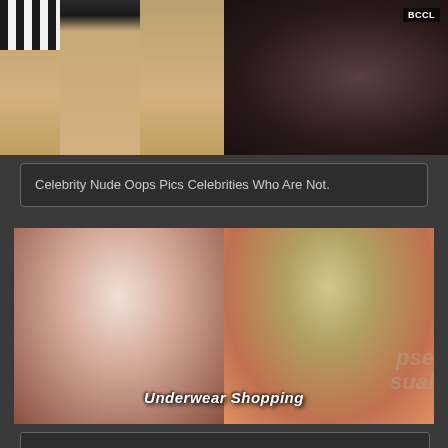[Figure (photo): Two paparazzi-style photos side by side at top: left shows legs in striped skirt, right shows dark patterned outfit with BCCL watermark]
Celebrity Nude Oops Pics Celebrities Who Are Not.
[Figure (photo): Composite image: left half shows woman in red dress portrait (Selena Gomez-like), right half shows woman from behind in red dress while shopping, carrying bags. Caption reads 'Underwear Shopping' with watermark overlay]
[Figure (photo): Bottom strip partial image]